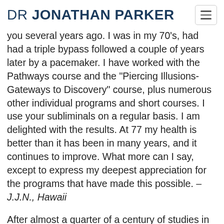DR JONATHAN PARKER
you several years ago. I was in my 70's, had had a triple bypass followed a couple of years later by a pacemaker. I have worked with the Pathways course and the "Piercing Illusions-Gateways to Discovery" course, plus numerous other individual programs and short courses. I use your subliminals on a regular basis. I am delighted with the results. At 77 my health is better than it has been in many years, and it continues to improve. What more can I say, except to express my deepest appreciation for the programs that have made this possible. –J.J.N., Hawaii
After almost a quarter of a century of studies in metaphysics, mysticism, and comparative religion, i was still unable to put all this knowledge to practical